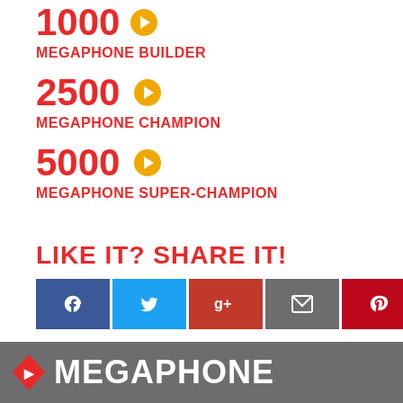1000
MEGAPHONE BUILDER
2500
MEGAPHONE CHAMPION
5000
MEGAPHONE SUPER-CHAMPION
LIKE IT? SHARE IT!
[Figure (other): Social share buttons: Facebook, Twitter, Google+, Email, Pinterest]
MEGAPHONE